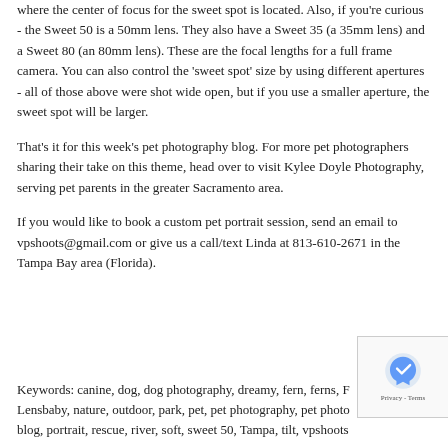where the center of focus for the sweet spot is located. Also, if you're curious - the Sweet 50 is a 50mm lens. They also have a Sweet 35 (a 35mm lens) and a Sweet 80 (an 80mm lens). These are the focal lengths for a full frame camera. You can also control the 'sweet spot' size by using different apertures - all of those above were shot wide open, but if you use a smaller aperture, the sweet spot will be larger.
That's it for this week's pet photography blog. For more pet photographers sharing their take on this theme, head over to visit Kylee Doyle Photography, serving pet parents in the greater Sacramento area.
If you would like to book a custom pet portrait session, send an email to vpshoots@gmail.com or give us a call/text Linda at 813-610-2671 in the Tampa Bay area (Florida).
Keywords: canine, dog, dog photography, dreamy, fern, ferns, F... Lensbaby, nature, outdoor, park, pet, pet photography, pet photo... blog, portrait, rescue, river, soft, sweet 50, Tampa, tilt, vpshoot...